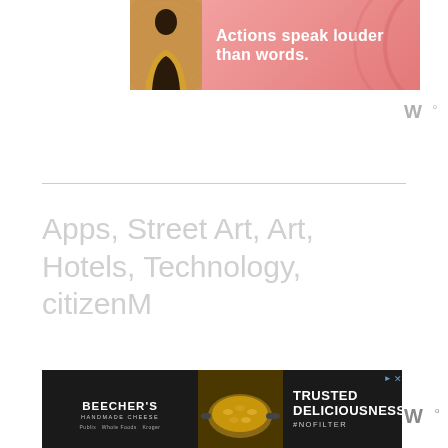[Figure (screenshot): Top banner advertisement with pink/salmon gradient background, silhouette of person in yellow jacket on left, white bold text reading 'Actions speak louder than words.' and a close button (X) in blue top right corner.]
[Figure (logo): Wordmark logo in grey on top right, stylized W with superscript circle]
Apps, Street Art, Art, Hotels, Technology, citizenM
[Figure (screenshot): Bottom banner advertisement for Beecher's Handmade Cheese showing logo on dark background left side, food photo in center (mac and cheese in a cast iron skillet), and text 'TRUSTED DELICIOUSNESS #NOFILTER' on dark right side with store logos (Publix, Whole Foods, Kroger). Ad triangle and close X icons visible.]
[Figure (logo): Wordmark logo in grey bottom right, stylized W with superscript circle]